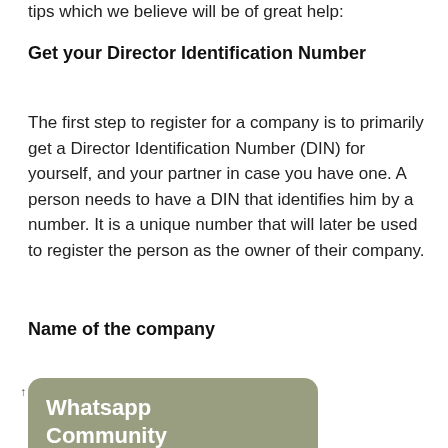tips which we believe will be of great help:
Get your Director Identification Number
The first step to register for a company is to primarily get a Director Identification Number (DIN) for yourself, and your partner in case you have one. A person needs to have a DIN that identifies him by a number. It is a unique number that will later be used to register the person as the owner of their company.
Name of the company
[Figure (other): Olive/khaki colored rounded rectangle banner with white bold text reading 'Whatsapp Community']